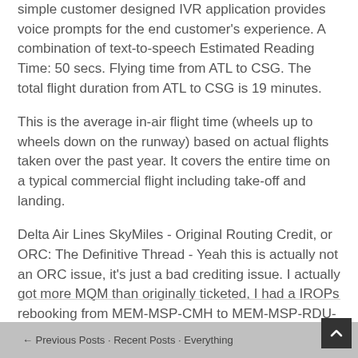simple customer designed IVR application provides voice prompts for the end customer's experience. A combination of text-to-speech Estimated Reading Time: 50 secs. Flying time from ATL to CSG. The total flight duration from ATL to CSG is 19 minutes.
This is the average in-air flight time (wheels up to wheels down on the runway) based on actual flights taken over the past year. It covers the entire time on a typical commercial flight including take-off and landing.
Delta Air Lines SkyMiles - Original Routing Credit, or ORC: The Definitive Thread - Yeah this is actually not an ORC issue, it's just a bad crediting issue. I actually got more MQM than originally ticketed, I had a IROPs rebooking from MEM-MSP-CMH to MEM-MSP-RDU-CMH. The MEM-MSP and RDU-CMH segments credited at %.
← Previous Posts · Recent Posts · Everything